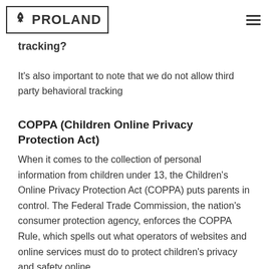[Figure (logo): PROLAND logo with rocket icon inside a rectangular border, and a hamburger menu icon on the right]
tracking?
It's also important to note that we do not allow third party behavioral tracking
COPPA (Children Online Privacy Protection Act)
When it comes to the collection of personal information from children under 13, the Children's Online Privacy Protection Act (COPPA) puts parents in control. The Federal Trade Commission, the nation's consumer protection agency, enforces the COPPA Rule, which spells out what operators of websites and online services must do to protect children's privacy and safety online.